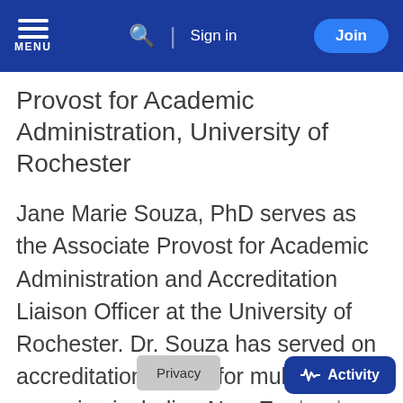MENU | Search | Sign in | Join
Provost for Academic Administration, University of Rochester
Jane Marie Souza, PhD serves as the Associate Provost for Academic Administration and Accreditation Liaison Officer at the University of Rochester. Dr. Souza has served on accreditation teams for multiple agencies including New England Commission on Higher